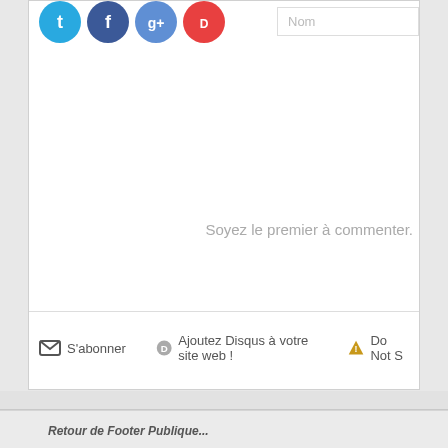[Figure (screenshot): Disqus comment widget showing social login icons (Twitter, Facebook, Google+, Disqus), a Nom input field, and 'Soyez le premier à commenter.' placeholder text]
Soyez le premier à commenter.
S'abonner
Ajoutez Disqus à votre site web !
Do Not S